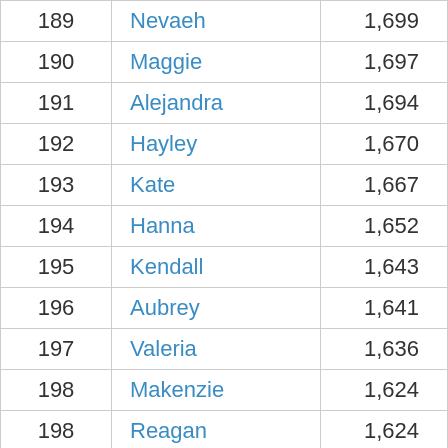| Rank | Name | Count |
| --- | --- | --- |
| 189 | Nevaeh | 1,699 |
| 190 | Maggie | 1,697 |
| 191 | Alejandra | 1,694 |
| 192 | Hayley | 1,670 |
| 193 | Kate | 1,667 |
| 194 | Hanna | 1,652 |
| 195 | Kendall | 1,643 |
| 196 | Aubrey | 1,641 |
| 197 | Valeria | 1,636 |
| 198 | Makenzie | 1,624 |
| 198 | Reagan | 1,624 |
| 200 | Tilli… | 1,6… |